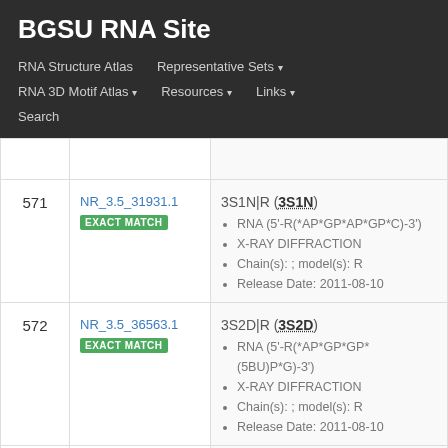BGSU RNA Site
RNA Structure Atlas | Representative Sets | RNA 3D Motif Atlas | Resources | Links | Search
| # | ID | Entry |
| --- | --- | --- |
| 571 | NR_3.5_31931.1
EXACT MATCH | 3S1N|R (3S1N)
• RNA (5'-R(*AP*GP*AP*GP*C)-3')
• X-RAY DIFFRACTION
• Chain(s): ; model(s): R
• Release Date: 2011-08-10 |
| 572 | NR_3.5_36563.1
EXACT MATCH | 3S2D|R (3S2D)
• RNA (5'-R(*AP*GP*GP*(5BU)P*G)-3')
• X-RAY DIFFRACTION
• Chain(s): ; model(s): R
• Release Date: 2011-08-10 |
| 573 | NR_3.5_37027.1 | 3ERC|E (3ERC) |